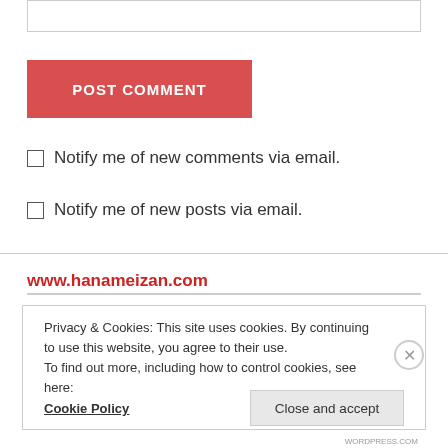[Figure (screenshot): Text input box at top of page]
POST COMMENT
Notify me of new comments via email.
Notify me of new posts via email.
www.hanameizan.com
Privacy & Cookies: This site uses cookies. By continuing to use this website, you agree to their use.
To find out more, including how to control cookies, see here:
Cookie Policy
Close and accept